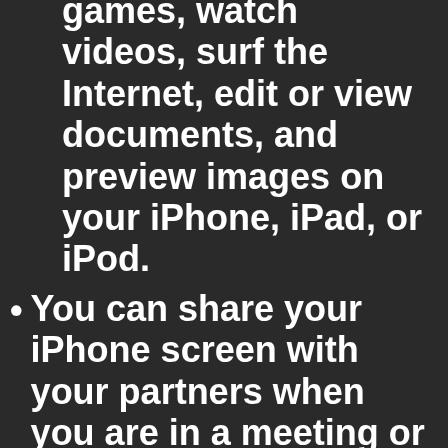games, watch videos, surf the Internet, edit or view documents, and preview images on your iPhone, iPad, or iPod.
You can share your iPhone screen with your partners when you are in a meeting or at a party with friends.
ITools Image Tool
With ITools, you can preview images in their original resolution. You